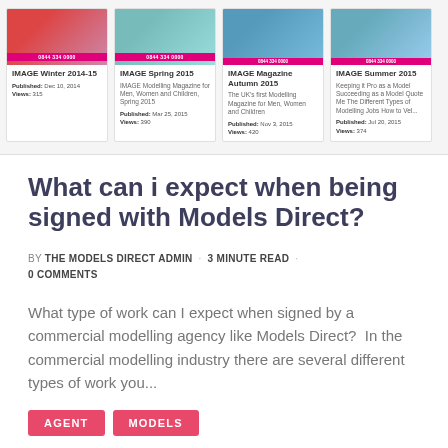[Figure (screenshot): Carousel of magazine cover cards: IMAGE Winter 2014-15, IMAGE Spring 2015, IMAGE Magazine Autumn 2015, IMAGE Summer 2015]
What can i expect when being signed with Models Direct?
by THE MODELS DIRECT ADMIN · 3 MINUTE READ · 0 COMMENTS
What type of work can I expect when signed by a commercial modelling agency like Models Direct?  In the commercial modelling industry there are several different types of work you...
AGENT
MODELS